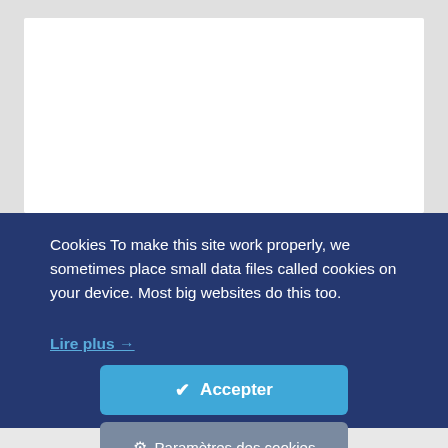[Figure (screenshot): White rectangular panel representing website content area, shown partially cropped at top of page.]
Cookies To make this site work properly, we sometimes place small data files called cookies on your device. Most big websites do this too.
Lire plus →
✔  Accepter
⚙  Paramètres des cookies